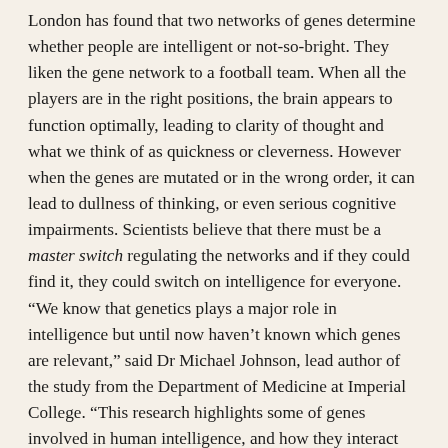London has found that two networks of genes determine whether people are intelligent or not-so-bright. They liken the gene network to a football team. When all the players are in the right positions, the brain appears to function optimally, leading to clarity of thought and what we think of as quickness or cleverness. However when the genes are mutated or in the wrong order, it can lead to dullness of thinking, or even serious cognitive impairments. Scientists believe that there must be a master switch regulating the networks and if they could find it, they could switch on intelligence for everyone. “We know that genetics plays a major role in intelligence but until now haven’t known which genes are relevant,” said Dr Michael Johnson, lead author of the study from the Department of Medicine at Imperial College. “This research highlights some of genes involved in human intelligence, and how they interact with each other. What’s exciting about this is that the genes we have found are likely to share a common regulation, which means that potentially we can manipulate a whole set of genes whose activity is linked to human intelligence. Our research suggests that it might be possible to work with these genes to modify intelligence, but that is only a theoretical possibility at the moment – we have just taken a first step along that road.” In the study, the team of researchers looked at samples of human brain